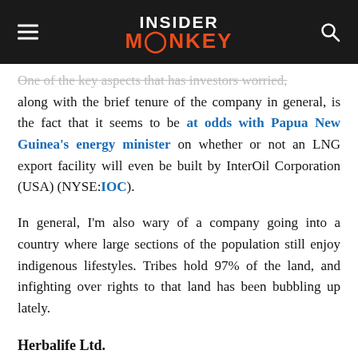INSIDER MONKEY
One of the key aspects that has investors worried, along with the brief tenure of the company in general, is the fact that it seems to be at odds with Papua New Guinea's energy minister on whether or not an LNG export facility will even be built by InterOil Corporation (USA) (NYSE:IOC).
In general, I'm also wary of a company going into a country where large sections of the population still enjoy indigenous lifestyles. Tribes hold 97% of the land, and infighting over rights to that land has been bubbling up lately.
Herbalife Ltd.